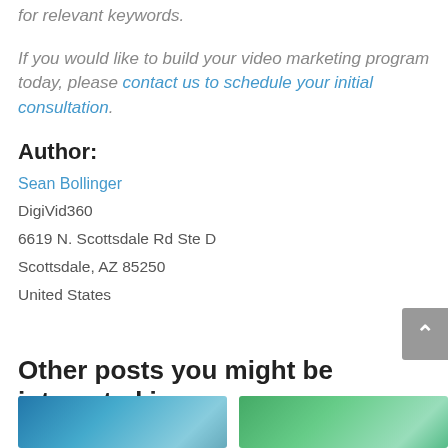for relevant keywords.
If you would like to build your video marketing program today, please contact us to schedule your initial consultation.
Author:
Sean Bollinger
DigiVid360
6619 N. Scottsdale Rd Ste D
Scottsdale, AZ 85250
United States
Other posts you might be interested in:
[Figure (photo): Two thumbnail images at the bottom of the page]